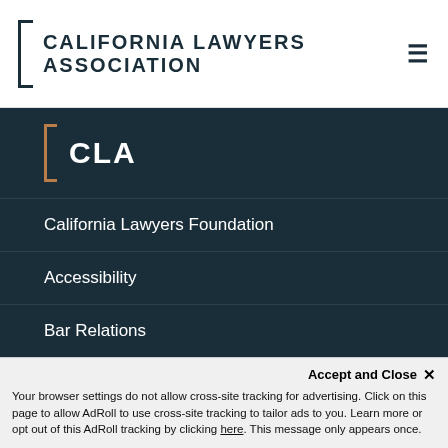CALIFORNIA LAWYERS ASSOCIATION
CLA
California Lawyers Foundation
Accessibility
Bar Relations
Bookstore
Careers
CLA Policies and Bylaws
Accept and Close ×
Your browser settings do not allow cross-site tracking for advertising. Click on this page to allow AdRoll to use cross-site tracking to tailor ads to you. Learn more or opt out of this AdRoll tracking by clicking here. This message only appears once.